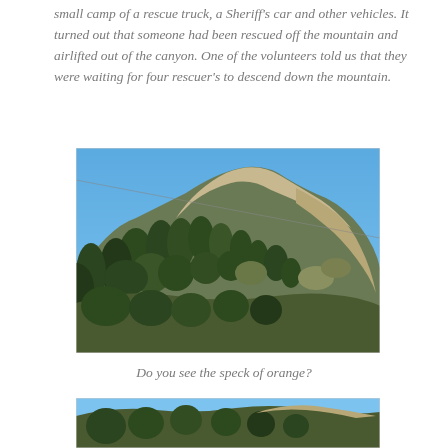small camp of a rescue truck, a Sheriff's car and other vehicles. It turned out that someone had been rescued off the mountain and airlifted out of the canyon. One of the volunteers told us that they were waiting for four rescuer's to descend down the mountain.
[Figure (photo): A rocky mountain peak covered with green conifer trees and dry brushy vegetation, with a clear blue sky behind it. A thin cable or wire runs diagonally across the upper left of the image.]
Do you see the speck of orange?
[Figure (photo): A partially visible second photograph of what appears to be the same mountain, cropped at the bottom of the page.]